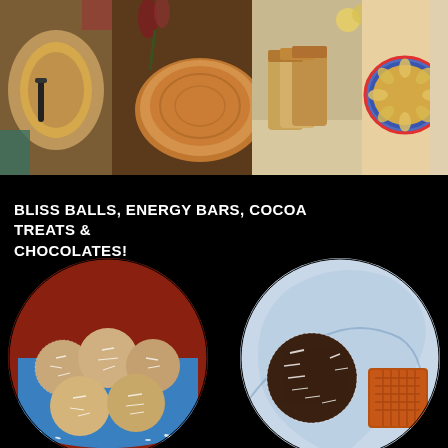[Figure (photo): Collage of four food photos at the top: a pie or flatbread in a pan with a black spatula, a round cake with golden brown top, sliced loaf cake on a cloth, and a tart with sliced fruit on a decorative blue plate.]
BLISS BALLS, ENERGY BARS, COCOA TREATS & CHOCOLATES!
[Figure (photo): Left circle photo: coconut-covered bliss balls piled on a blue plate with a red background.]
[Figure (photo): Right circle photo: chocolate and coconut bliss balls with a crumbly orange treat on a blue and white decorative plate.]